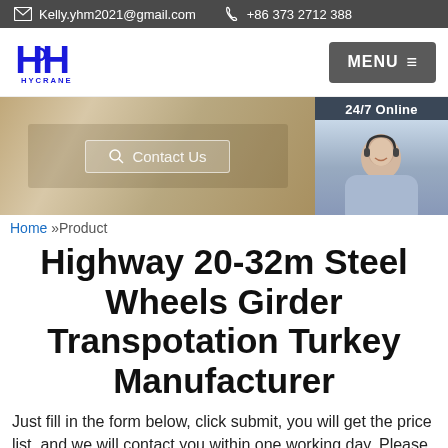Kelly.yhm2021@gmail.com   +86 373 2712 388
[Figure (logo): HYCRANE logo with stylized H containing crane hook symbol, blue text]
MENU
[Figure (photo): Banner photo of person typing on laptop keyboard with search bar overlay reading 'Contact Us', alongside 24/7 Online chat panel with female agent photo, 'Click here for free chat!' and QUOTATION button]
Home »Product
Highway 20-32m Steel Wheels Girder Transpotation Turkey Manufacturer
Just fill in the form below, click submit, you will get the price list, and we will contact you within one working day. Please also feel free to